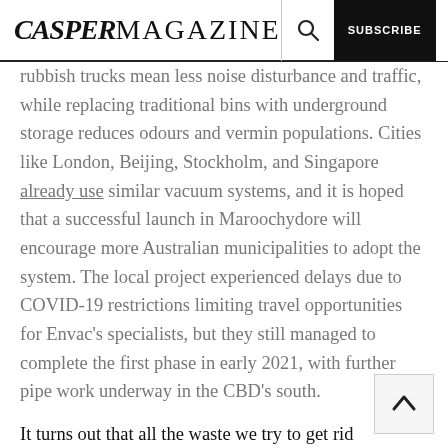CASPERMAGAZINE [search] SUBSCRIBE [menu]
rubbish trucks mean less noise disturbance and traffic, while replacing traditional bins with underground storage reduces odours and vermin populations. Cities like London, Beijing, Stockholm, and Singapore already use similar vacuum systems, and it is hoped that a successful launch in Maroochydore will encourage more Australian municipalities to adopt the system. The local project experienced delays due to COVID-19 restrictions limiting travel opportunities for Envac's specialists, but they still managed to complete the first phase in early 2021, with further pipe work underway in the CBD's south.
It turns out that all the waste we try to get rid be cool again – at least when its being digested into...